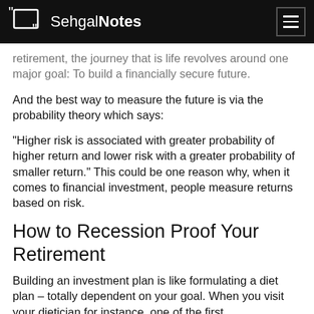SehgalNotes
retirement, the journey that is life revolves around one major goal: To build a financially secure future.
And the best way to measure the future is via the probability theory which says:
“Higher risk is associated with greater probability of higher return and lower risk with a greater probability of smaller return.” This could be one reason why, when it comes to financial investment, people measure returns based on risk.
How to Recession Proof Your Retirement
Building an investment plan is like formulating a diet plan – totally dependent on your goal. When you visit your dietician for instance, one of the first